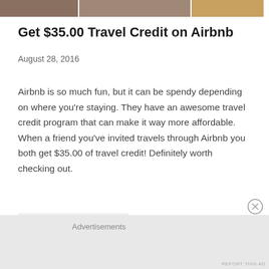[Figure (photo): Three cropped photo thumbnails in a horizontal strip at the top of the page showing people/scenes]
Get $35.00 Travel Credit on Airbnb
August 28, 2016
Airbnb is so much fun, but it can be spendy depending on where you're staying. They have an awesome travel credit program that can make it way more affordable. When a friend you've invited travels through Airbnb you both get $35.00 of travel credit! Definitely worth checking out.
[Figure (illustration): Icon bar with comment bubble icon and link/share icon on light grey background]
Advertisements